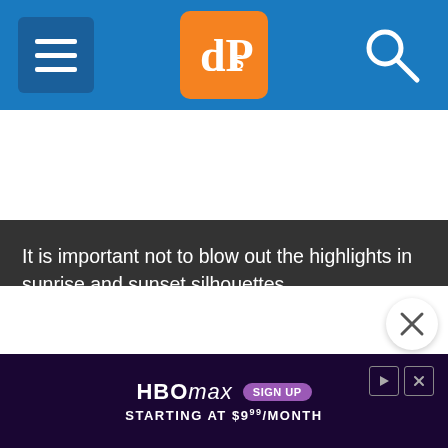dPS header navigation with hamburger menu, dPS logo, and search icon
It is important not to blow out the highlights in sunrise and sunset silhouettes.
[Figure (screenshot): HBO Max advertisement banner: 'HBO max SIGN UP STARTING AT $9.99/MONTH' on dark purple background]